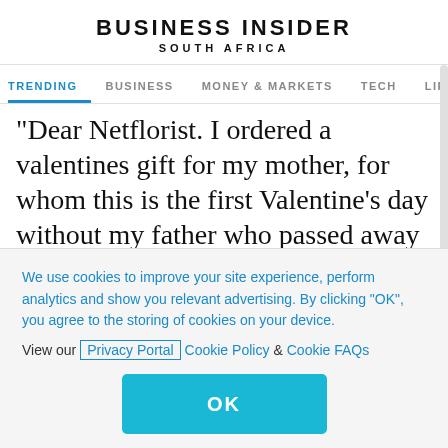BUSINESS INSIDER SOUTH AFRICA
TRENDING  BUSINESS  MONEY & MARKETS  TECH  LIFE
"Dear Netflorist. I ordered a valentines gift for my mother, for whom this is the first Valentine's day without my father who passed away in December. You have not delivered it."
NetFlorist managing director Ryan Bacher said the combination of rain in Gauteng and
We use cookies to improve your site experience, perform analytics and show you relevant advertising. By clicking "OK", you agree to the storing of cookies on your device. View our Privacy Portal Cookie Policy & Cookie FAQs